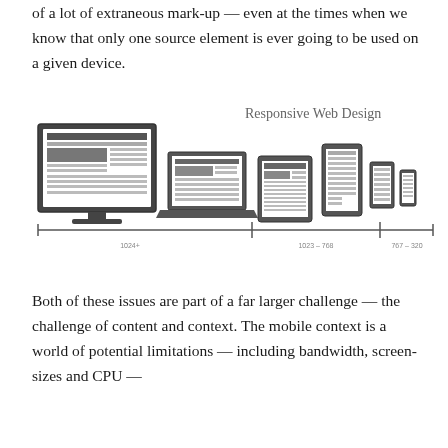of a lot of extraneous mark-up — even at the times when we know that only one source element is ever going to be used on a given device.
[Figure (illustration): Responsive Web Design illustration showing multiple devices (desktop monitor, laptop, tablet, small tablet, phone, and a small device) arranged from left to right with decreasing size. Below them is a horizontal rule with breakpoint labels: 1024+, 1023–768, 767–320. The title 'Responsive Web Design' appears in the upper right area of the illustration.]
Both of these issues are part of a far larger challenge — the challenge of content and context. The mobile context is a world of potential limitations — including bandwidth, screen-sizes and CPU — and are part of the device.